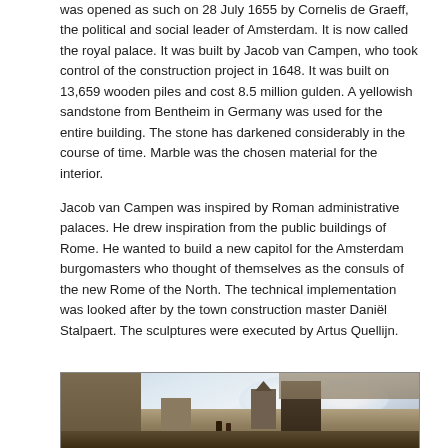was opened as such on 28 July 1655 by Cornelis de Graeff, the political and social leader of Amsterdam. It is now called the royal palace. It was built by Jacob van Campen, who took control of the construction project in 1648. It was built on 13,659 wooden piles and cost 8.5 million gulden. A yellowish sandstone from Bentheim in Germany was used for the entire building. The stone has darkened considerably in the course of time. Marble was the chosen material for the interior.
Jacob van Campen was inspired by Roman administrative palaces. He drew inspiration from the public buildings of Rome. He wanted to build a new capitol for the Amsterdam burgomasters who thought of themselves as the consuls of the new Rome of the North. The technical implementation was looked after by the town construction master Daniël Stalpaert. The sculptures were executed by Artus Quellijn.
[Figure (photo): A historical painting depicting the construction or early view of a large building (likely Amsterdam's Royal Palace / Town Hall) with scaffolding on the left side, a dark tower in the center-foreground, figures in the foreground, and a dramatic cloudy sky.]